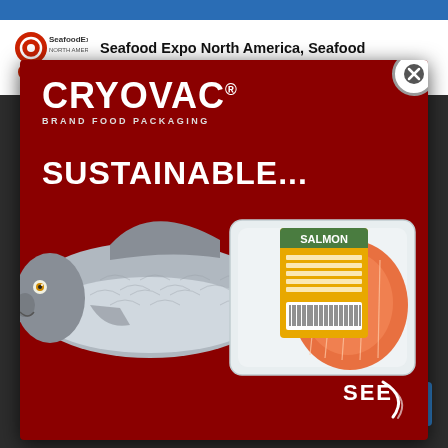Seafood Expo North America, Seafood Expo Global postponed to later in 2021
[Figure (photo): Cryovac Brand Food Packaging advertisement on dark red background showing a whole salmon fish and packaged salmon fillet with text SUSTAINABLE... and SEE logo]
Accept Cookies